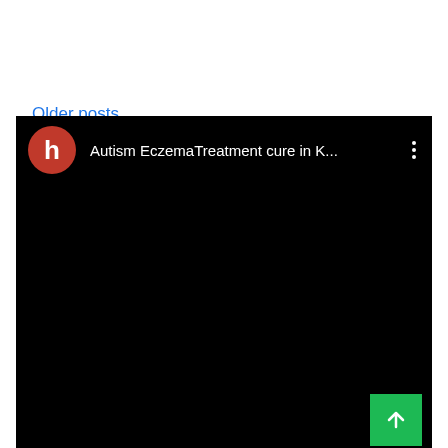Older posts
[Figure (screenshot): A video embed with a dark/black background showing a YouTube-style video thumbnail. The video header shows a red circular avatar with white letter 'h', the title 'Autism EczemaTreatment cure in K...' in white, and a three-dot menu icon. There is a green scroll-to-top button in the bottom right corner.]